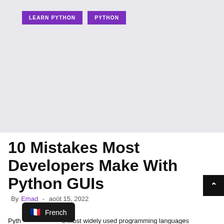[Figure (other): Light gray placeholder image area with two purple category tags labeled LEARN PYTHON and PYTHON]
10 Mistakes Most Developers Make With Python GUIs
By Emad - août 15, 2022
[Figure (other): Dark popup showing French flag emoji and text 'French']
Pyth... e most widely used programming languages